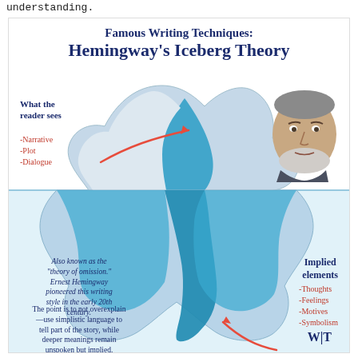understanding.
[Figure (infographic): Hemingway's Iceberg Theory infographic showing an iceberg above and below a waterline. Above water: 'What the reader sees' with a red arrow pointing to the tip, listing -Narrative, -Plot, -Dialogue. Below water: 'Implied elements' with a red arrow and list: -Thoughts, -Feelings, -Motives, -Symbolism. Left side text explains the theory of omission. A photo of Hemingway appears top right.]